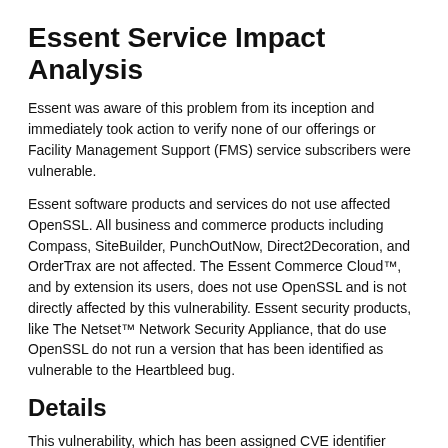Essent Service Impact Analysis
Essent was aware of this problem from its inception and immediately took action to verify none of our offerings or Facility Management Support (FMS) service subscribers were vulnerable.
Essent software products and services do not use affected OpenSSL. All business and commerce products including Compass, SiteBuilder, PunchOutNow, Direct2Decoration, and OrderTrax are not affected. The Essent Commerce Cloud™, and by extension its users, does not use OpenSSL and is not directly affected by this vulnerability. Essent security products, like The Netset™ Network Security Appliance, that do use OpenSSL do not run a version that has been identified as vulnerable to the Heartbleed bug.
Details
This vulnerability, which has been assigned CVE identifier CVE-2014-0160 and is also known as the "Heartbleed Bug," allows anyone on the Internet to read the memory of systems